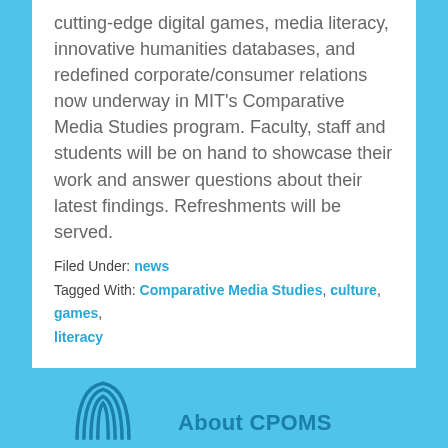cutting-edge digital games, media literacy, innovative humanities databases, and redefined corporate/consumer relations now underway in MIT's Comparative Media Studies program. Faculty, staff and students will be on hand to showcase their work and answer questions about their latest findings. Refreshments will be served.
Filed Under: news
Tagged With: Comparative Media Studies, culture, games, literacy
[Figure (logo): Partial circular logo icon at bottom left, and 'About CPOMS' text at bottom right]